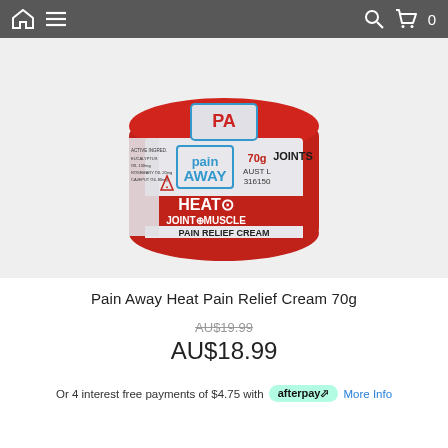Navigation bar with home, menu, search and cart icons
[Figure (photo): Pain Away Heat Joint & Muscle Pain Relief Cream 70g red jar product photo on light grey background]
Pain Away Heat Pain Relief Cream 70g
AU$19.99 (strikethrough original price)
AU$18.99
Or 4 interest free payments of $4.75 with afterpay More Info